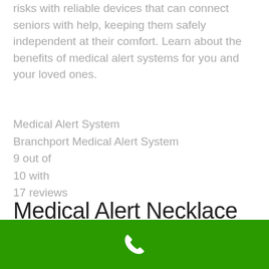The best medical alert systems address these risks with reliable devices that can connect seniors with help, keeping them safely independent at their comfort. Learn about the benefits of medical alert systems for you and your loved ones. Medical Alert System Branchport Medical Alert System 9 out of 10 with 17 reviews
Medical Alert Necklace
[Figure (other): Green call/phone button bar at the bottom of the page with a white phone handset icon centered on it]